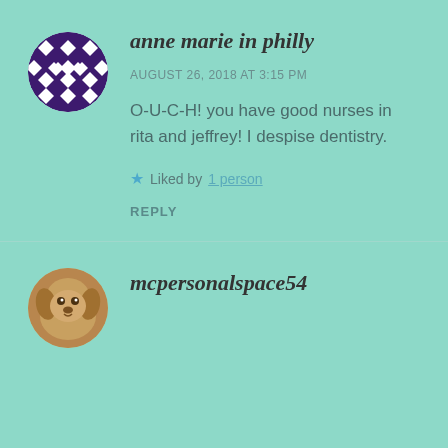[Figure (illustration): Round avatar icon with purple and white geometric diamond/cross pattern on white background, circular shape]
anne marie in philly
AUGUST 26, 2018 AT 3:15 PM
O-U-C-H! you have good nurses in rita and jeffrey! I despise dentistry.
Liked by 1 person
REPLY
[Figure (photo): Round avatar photo of a golden/light brown dog looking at camera]
mcpersonalspace54